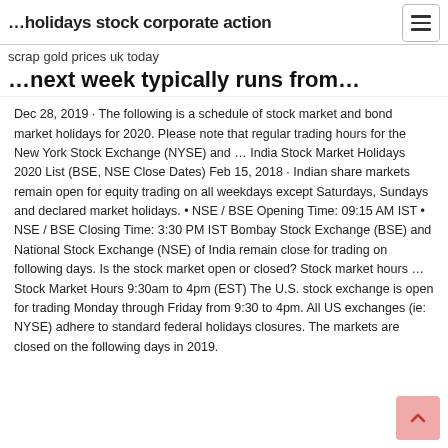…holidays stock corporate action
scrap gold prices uk today
…next week typically runs from…
Dec 28, 2019 · The following is a schedule of stock market and bond market holidays for 2020. Please note that regular trading hours for the New York Stock Exchange (NYSE) and … India Stock Market Holidays 2020 List (BSE, NSE Close Dates) Feb 15, 2018 · Indian share markets remain open for equity trading on all weekdays except Saturdays, Sundays and declared market holidays. • NSE / BSE Opening Time: 09:15 AM IST • NSE / BSE Closing Time: 3:30 PM IST Bombay Stock Exchange (BSE) and National Stock Exchange (NSE) of India remain close for trading on following days. Is the stock market open or closed? Stock market hours … Stock Market Hours 9:30am to 4pm (EST) The U.S. stock exchange is open for trading Monday through Friday from 9:30 to 4pm. All US exchanges (ie: NYSE) adhere to standard federal holidays closures. The markets are closed on the following days in 2019.